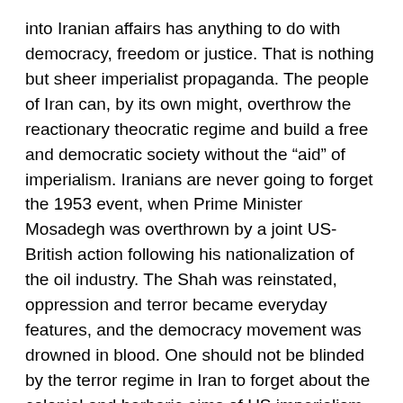into Iranian affairs has anything to do with democracy, freedom or justice. That is nothing but sheer imperialist propaganda. The people of Iran can, by its own might, overthrow the reactionary theocratic regime and build a free and democratic society without the “aid” of imperialism. Iranians are never going to forget the 1953 event, when Prime Minister Mosadegh was overthrown by a joint US-British action following his nationalization of the oil industry. The Shah was reinstated, oppression and terror became everyday features, and the democracy movement was drowned in blood. One should not be blinded by the terror regime in Iran to forget about the colonial and barbaric aims of US imperialism.
US Out of Iraq Immediately and Unconditionally! No Sanctions, No Bombs Against Iran!